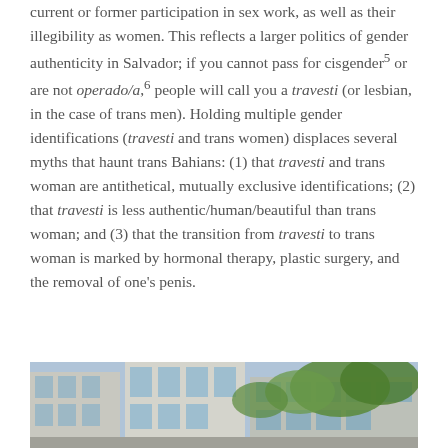current or former participation in sex work, as well as their illegibility as women. This reflects a larger politics of gender authenticity in Salvador; if you cannot pass for cisgender⁵ or are not operado/a,⁶ people will call you a travesti (or lesbian, in the case of trans men). Holding multiple gender identifications (travesti and trans women) displaces several myths that haunt trans Bahians: (1) that travesti and trans woman are antithetical, mutually exclusive identifications; (2) that travesti is less authentic/human/beautiful than trans woman; and (3) that the transition from travesti to trans woman is marked by hormonal therapy, plastic surgery, and the removal of one's penis.
[Figure (photo): Bottom portion of a street-level photograph showing buildings and foliage in what appears to be a Brazilian urban setting.]